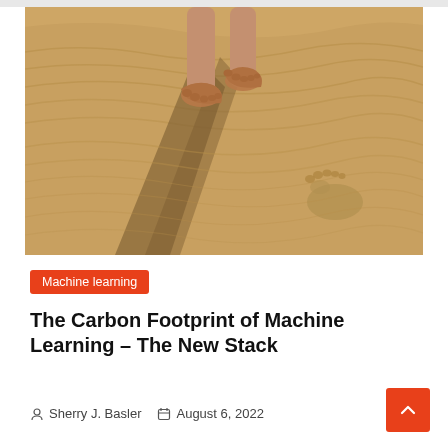[Figure (photo): Close-up photo of bare feet walking on rippled sand dunes, casting a long shadow across the sand. A footprint is visible in the sand to the lower right.]
Machine learning
The Carbon Footprint of Machine Learning – The New Stack
Sherry J. Basler   August 6, 2022